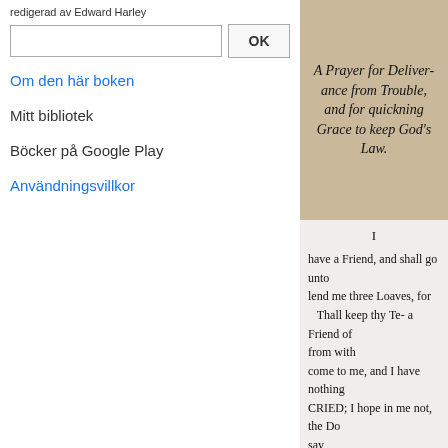redigerad av Edward Harley
OK
Om den här boken
Mitt bibliotek
Böcker på Google Play
Användningsvillkor
[Figure (photo): Old book page image showing title: A Prayer for Deliverance from Trouble, and for quickning Grace to keep God's Law.]
I
have a Friend, and shall go unto
lend me three Loaves, for

Thall keep thy Te- a Friend of
from with

come to me, and I have nothing
CRIED; I hope in me not, the Do
say

my Children are with me in Bed,
and give him because he is his F
he needeth : And I say unto you,
be opened unto you : ver. 13. If y
much more shall your heavenly
• Psalm cxix. 145, to 149, 151
I might MEDITATE in thy Word